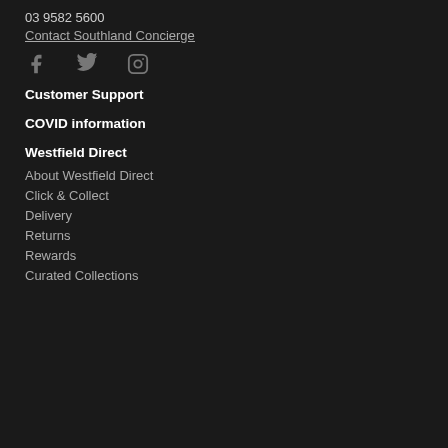03 9582 5600
Contact Southland Concierge
[Figure (other): Social media icons: Facebook, Twitter, Instagram]
Customer Support
COVID information
Westfield Direct
About Westfield Direct
Click & Collect
Delivery
Returns
Rewards
Curated Collections